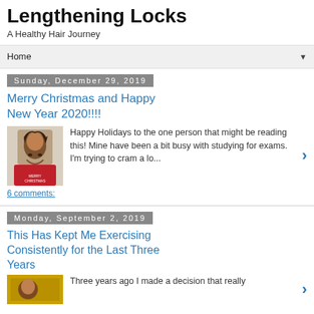Lengthening Locks
A Healthy Hair Journey
Home
Sunday, December 29, 2019
Merry Christmas and Happy New Year 2020!!!!
[Figure (photo): Photo of a woman in a red shirt smiling]
Happy Holidays to the one person that might be reading this!  Mine have been a bit busy with studying for exams. I'm trying to cram a lo...
6 comments:
Monday, September 2, 2019
This Has Kept Me Exercising Consistently for the Last Three Years
[Figure (photo): Small thumbnail image]
Three years ago I made a decision that really